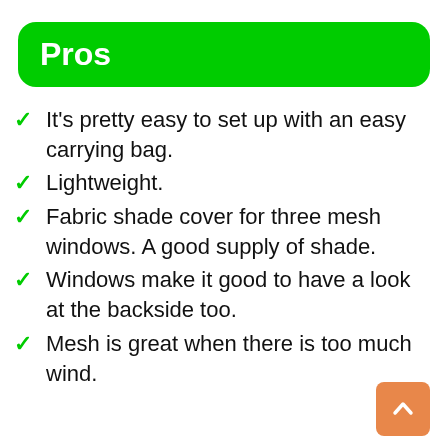Pros
It's pretty easy to set up with an easy carrying bag.
Lightweight.
Fabric shade cover for three mesh windows. A good supply of shade.
Windows make it good to have a look at the backside too.
Mesh is great when there is too much wind.